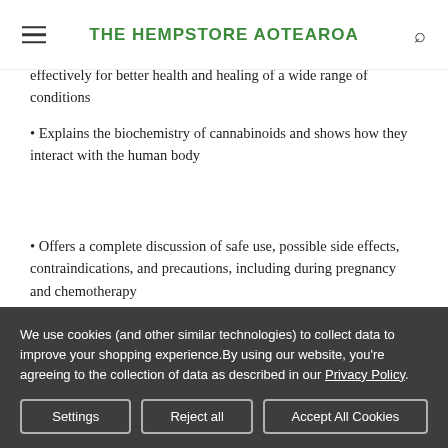THE HEMPSTORE AOTEAROA
effectively for better health and healing of a wide range of conditions
• Explains the biochemistry of cannabinoids and shows how they interact with the human body
• Offers a complete discussion of safe use, possible side effects, contraindications, and precautions, including during pregnancy and chemotherapy
• Explores the use of CBD to treat seizures, anxiety, muscular disorders, and psychotic states and the use of THC to treat
We use cookies (and other similar technologies) to collect data to improve your shopping experience.By using our website, you're agreeing to the collection of data as described in our Privacy Policy.
Settings | Reject all | Accept All Cookies